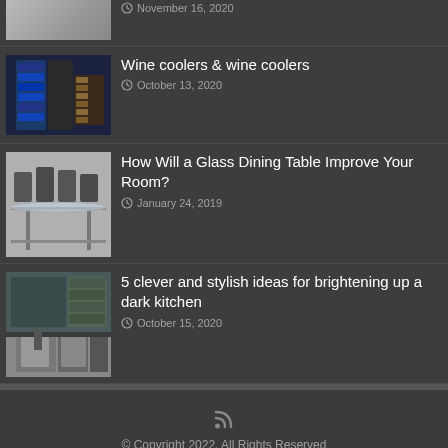November 16, 2020
Wine coolers & wine coolers
October 13, 2020
How Will a Glass Dining Table Improve Your Room?
January 24, 2019
5 clever and stylish ideas for brightening up a dark kitchen
October 15, 2020
© Copyright 2022, All Rights Reserved
Terms and Conditions · Privacy Policy